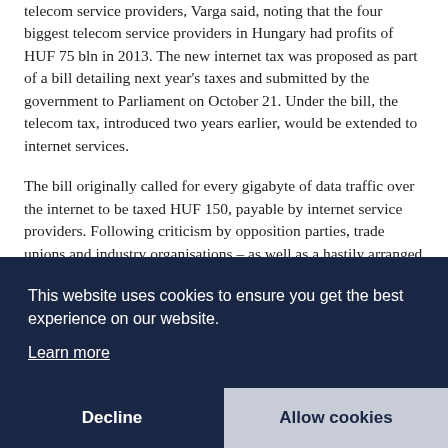telecom service providers, Varga said, noting that the four biggest telecom service providers in Hungary had profits of HUF 75 bln in 2013. The new internet tax was proposed as part of a bill detailing next year's taxes and submitted by the government to Parliament on October 21. Under the bill, the telecom tax, introduced two years earlier, would be extended to internet services.
The bill originally called for every gigabyte of data traffic over the internet to be taxed HUF 150, payable by internet service providers. Following criticism by opposition parties, trade unions and industry organisations – as well as a hastily arranged demonstrations by tens of thousands in... p... de... ng F... co...
This website uses cookies to ensure you get the best experience on our website.
Learn more
Decline
Allow cookies